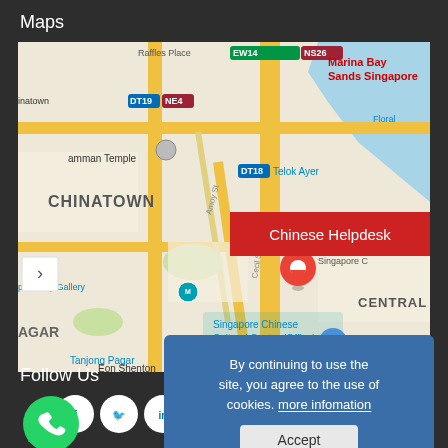Maps
[Figure (map): Google Maps screenshot showing Chinatown area of Singapore, centered near 39 Robinson Road. Shows CHINATOWN, Tanjong Pagar EW15, DT18 Telok Ayer, DT19 NE4 stations, Singapore Chinese Cultural Centre (Office), Marina Bay CE2 NS27, Car Park M0084, Raffles Place EW14 NS26, Marina Bay Sands Singapore, Floral, Eon Shenton, Amoy St, Cecil St, Amman Temple, Singapore City Gallery. Red location pin at 39 Robinson Singapore. Red banner overlay: Chinese Helpdesk.]
By continuing to use the site, you agree to the use of cookies. more infomation
Accept
Follow Us
[Figure (infographic): Social media icons: WhatsApp (green), Facebook (white circle), Twitter (white circle), LinkedIn (white circle), Google+ (white circle). Yellow chat bot circle on right.]